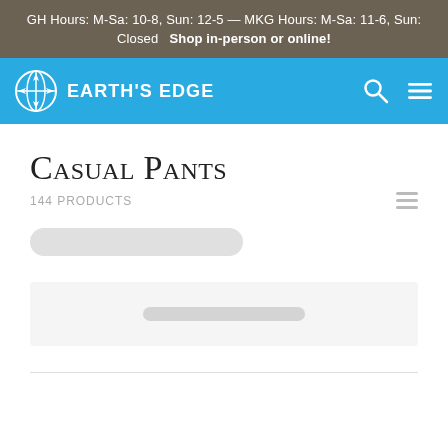GH Hours: M-Sa: 10-8, Sun: 12-5 — MKG Hours: M-Sa: 11-6, Sun: Closed    Shop in-person or online!
[Figure (logo): Earth's Edge logo with globe/compass icon and text EARTH'S EDGE on blue navigation bar with search and menu icons]
Casual Pants
144 products
[Figure (other): Loading skeleton bar - gray rounded rectangle placeholder for filter/sort controls]
[Figure (other): Loading skeleton section - light gray rectangle with centered short gray bar, placeholder for product listing controls]